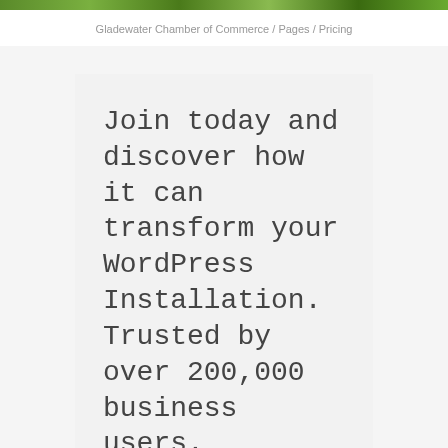Gladewater Chamber of Commerce / Pages / Pricing
Join today and discover how it can transform your WordPress Installation. Trusted by over 200,000 business users.